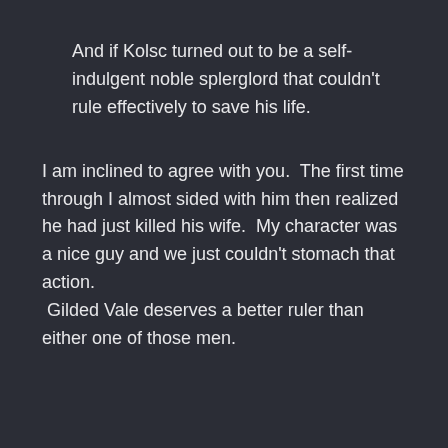And if Kolsc turned out to be a self-indulgent noble splerglord that couldn't rule effectively to save his life.
I am inclined to agree with you.  The first time through I almost sided with him then realized he had just killed his wife.  My character was a nice guy and we just couldn't stomach that action.  Gilded Vale deserves a better ruler than either one of those men.